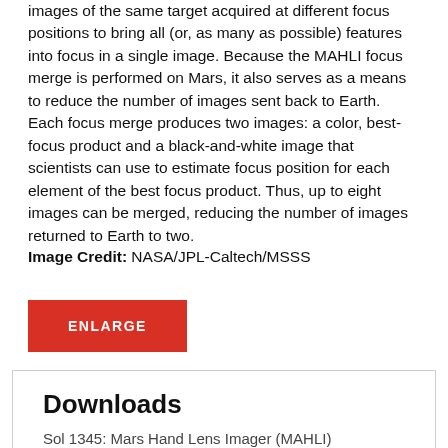images of the same target acquired at different focus positions to bring all (or, as many as possible) features into focus in a single image. Because the MAHLI focus merge is performed on Mars, it also serves as a means to reduce the number of images sent back to Earth. Each focus merge produces two images: a color, best-focus product and a black-and-white image that scientists can use to estimate focus position for each element of the best focus product. Thus, up to eight images can be merged, reducing the number of images returned to Earth to two.
Image Credit: NASA/JPL-Caltech/MSSS
[Figure (other): Red ENLARGE button]
Downloads
Sol 1345: Mars Hand Lens Imager (MAHLI)